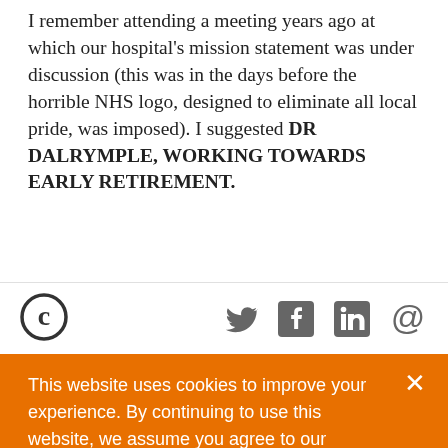I remember attending a meeting years ago at which our hospital's mission statement was under discussion (this was in the days before the horrible NHS logo, designed to eliminate all local pride, was imposed). I suggested DR DALRYMPLE, WORKING TOWARDS EARLY RETIREMENT.
[Figure (logo): Crikey logo (circular C icon) and social media icons: Twitter, Facebook, LinkedIn, Email]
This website uses cookies to improve your experience. By continuing to use this website, we assume you agree to our Cookies Policy.